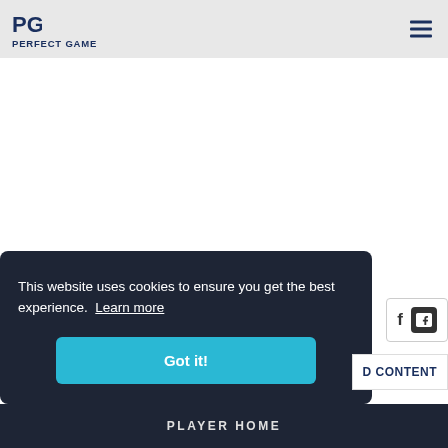PERFECT GAME
This website uses cookies to ensure you get the best experience. Learn more
Got it!
D CONTENT
PLAYER HOME